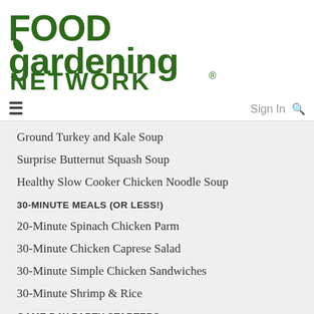[Figure (logo): Food Gardening Network logo in dark green with leaf accent on letter g]
≡   Sign In 🔍
Ground Turkey and Kale Soup
Surprise Butternut Squash Soup
Healthy Slow Cooker Chicken Noodle Soup
30-MINUTE MEALS (OR LESS!)
20-Minute Spinach Chicken Parm
30-Minute Chicken Caprese Salad
30-Minute Simple Chicken Sandwiches
30-Minute Shrimp & Rice
GAME DAY PARTY STARTERS
Kickoff Snack Mix